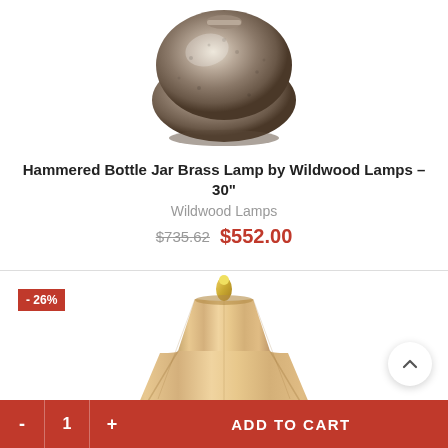[Figure (photo): Hammered bottle jar brass lamp base with metallic silver-brown textured finish, viewed from above showing rounded bulbous shape]
Hammered Bottle Jar Brass Lamp by Wildwood Lamps – 30"
Wildwood Lamps
$735.62 $552.00
[Figure (photo): Table lamp with large bell-shaped cream/gold fabric shade and gold finial, lower portion of lamp body visible, -26% discount badge shown]
ADD TO CART